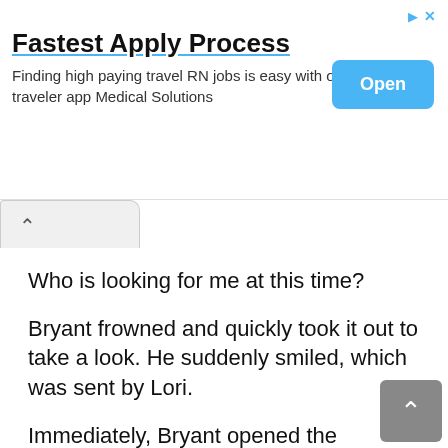[Figure (screenshot): Ad banner for Medical Solutions travel nursing jobs with 'Fastest Apply Process' title, blue Open button, and ad attribution icons in top right.]
Who is looking for me at this time?
Bryant frowned and quickly took it out to take a look. He suddenly smiled, which was sent by Lori.
Immediately, Bryant opened the message, and the whole person was blinded.
I saw that the news was only a short sentence: I am in the Valley of the Evil Man in the north of Zhongzhou City, come see me.